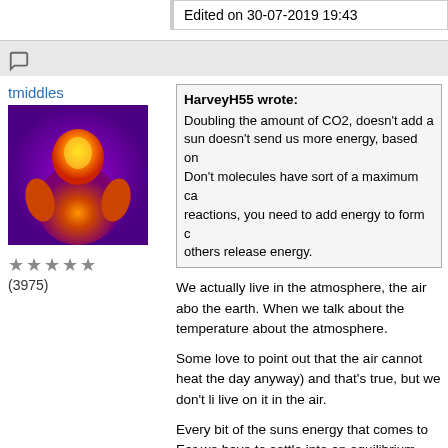fuels burn very well - Oran
Edited on 30-07-2019 19:43
tmiddles
[Figure (photo): Thermal infrared image of a person sitting, showing heat distribution in purple, orange, and yellow tones]
★★★★★ (3975)
HarveyH55 wrote: Doubling the amount of CO2, doesn't add a sun doesn't send us more energy, based on Don't molecules have sort of a maximum ca reactions, you need to add energy to form c others release energy.
We actually live in the atmosphere, the air abo the earth. When we talk about the temperature about the atmosphere.
Some love to point out that the air cannot heat the day anyway) and that's true, but we don't li live on it in the air.
Every bit of the suns energy that comes to Ear we have to settle into an equilibrium.
However!!! There is a delay/storage capacity to of the Suns energy that is on it's way but not g don't freeze to death at night).